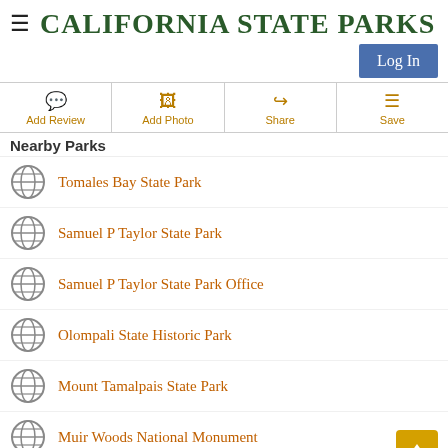CALIFORNIA STATE PARKS
Log In
Add Review
Add Photo
Share
Save
Nearby Parks
Tomales Bay State Park
Samuel P Taylor State Park
Samuel P Taylor State Park Office
Olompali State Historic Park
Mount Tamalpais State Park
Muir Woods National Monument
Petaluma Adobe State Historic Park